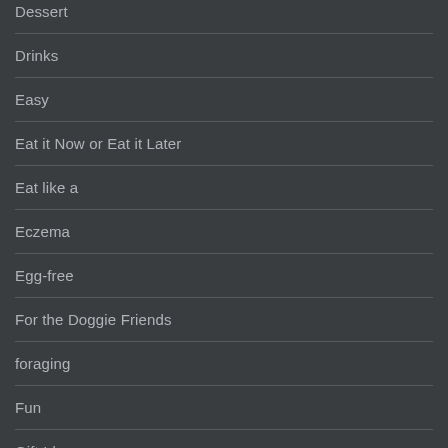Dessert
Drinks
Easy
Eat it Now or Eat it Later
Eat like a
Eczema
Egg-free
For the Doggie Friends
foraging
Fun
Gift Ideas
Gluten free